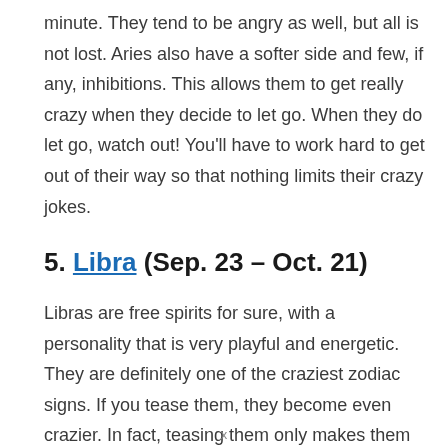minute. They tend to be angry as well, but all is not lost. Aries also have a softer side and few, if any, inhibitions. This allows them to get really crazy when they decide to let go. When they do let go, watch out! You'll have to work hard to get out of their way so that nothing limits their crazy jokes.
5. Libra (Sep. 23 – Oct. 21)
Libras are free spirits for sure, with a personality that is very playful and energetic. They are definitely one of the craziest zodiac signs. If you tease them, they become even crazier. In fact, teasing them only makes them feel more confident about being crazy. Sometimes when they
x